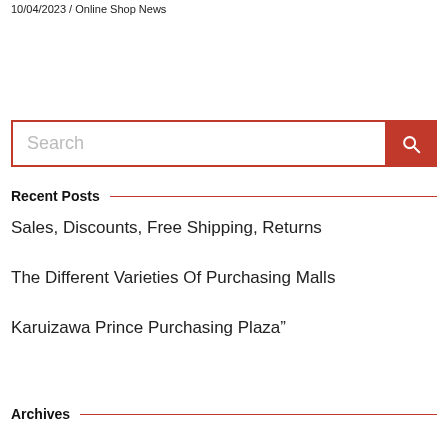10/04/2023 / Online Shop News
Search
Recent Posts
Sales, Discounts, Free Shipping, Returns
The Different Varieties Of Purchasing Malls
Karuizawa Prince Purchasing Plaza”
Archives